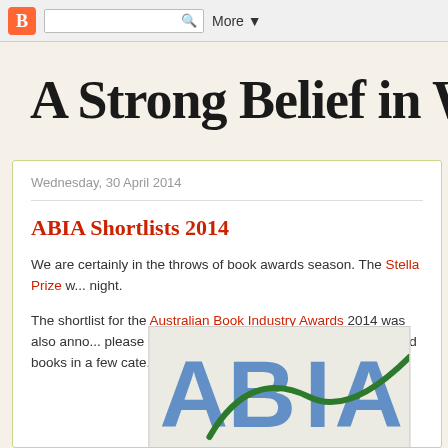Blogger navigation bar with search box and More button
A Strong Belief in Wic
Wednesday, 30 April 2014
ABIA Shortlists 2014
We are certainly in the throws of book awards season. The Stella Prize w... night.
The shortlist for the Australian Book Industry Awards 2014 was also anno... please to find that I had read some of the nominated books in a few cate... many more, but of course haven't.
[Figure (logo): ABIA logo with large blue letters and green curved line]